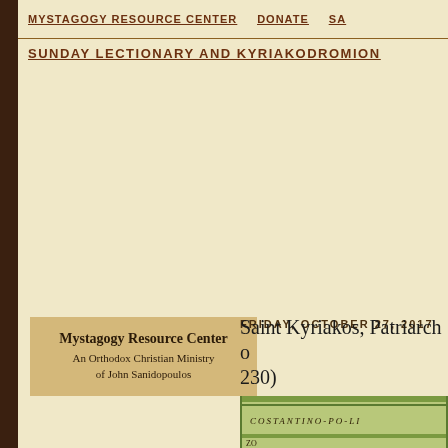MYSTAGOGY RESOURCE CENTER   DONATE   SA...
SUNDAY LECTIONARY AND KYRIAKODROMION
[Figure (illustration): Mystagogy Resource Center logo box: tan/gold background box with text 'Mystagogy Resource Center' and subtitle 'An Orthodox Christian Ministry of John Sanidopoulos']
FRIDAY, OCTOBER 27, 2017
Saint Kyriakos, Patriarch of Constantinople (+ 230)
[Figure (photo): Partial view of an old stamp or coin image labeled 'COSTANTINO-PO-LI' with decorative border, partially cut off at bottom of page]